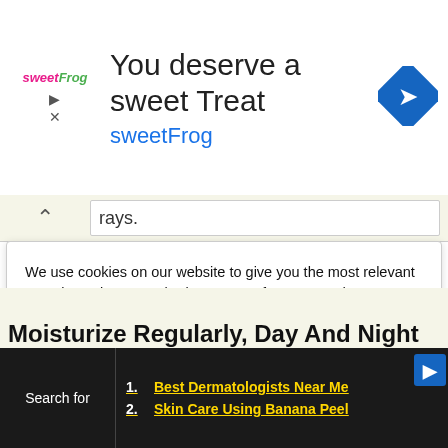[Figure (screenshot): sweetFrog advertisement banner with logo, headline 'You deserve a sweet Treat', brand name 'sweetFrog', and a blue diamond navigation icon on the right]
rays.
We use cookies on our website to give you the most relevant experience by remembering your preferences and repeat visits. By clicking “Accept”, you consent to the use of all the cookies. Read More
Do not sell my personal information.
Cookie settings
ACCEPT
Moisturize Regularly, Day And Night
Search for
1. Best Dermatologists Near Me
2. Skin Care Using Banana Peel